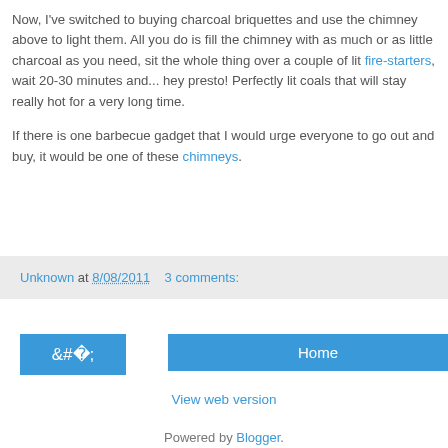Now, I've switched to buying charcoal briquettes and use the chimney above to light them. All you do is fill the chimney with as much or as little charcoal as you need, sit the whole thing over a couple of lit fire-starters, wait 20-30 minutes and... hey presto! Perfectly lit coals that will stay really hot for a very long time.

If there is one barbecue gadget that I would urge everyone to go out and buy, it would be one of these chimneys.
Unknown at 8/08/2011   3 comments:
‹
Home
View web version
Powered by Blogger.